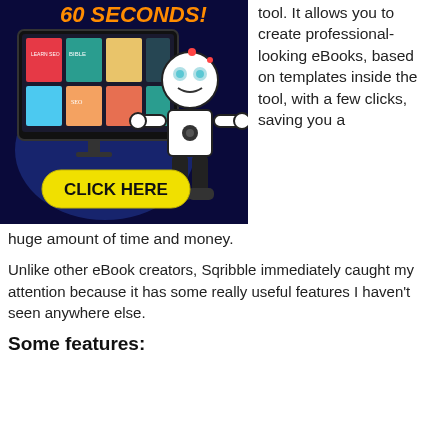[Figure (illustration): Promotional image for an eBook creation tool showing a dark blue background with a robot character, a computer monitor displaying eBook covers, orange text reading '60 SECONDS!' at top, and a yellow button with black text 'CLICK HERE' at bottom left.]
tool. It allows you to create professional-looking eBooks, based on templates inside the tool, with a few clicks, saving you a
huge amount of time and money.
Unlike other eBook creators, Sqribble immediately caught my attention because it has some really useful features I haven't seen anywhere else.
Some features: